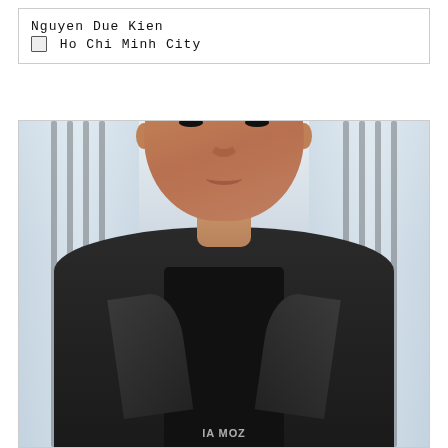Nguyen Due Kien
🔲 Ho Chi Minh City
[Figure (photo): Professional portrait photo of Nguyen Due Kien, a young man wearing a dark blazer over a black shirt with partial text visible, photographed against a bright indoor background with vertical window blinds.]